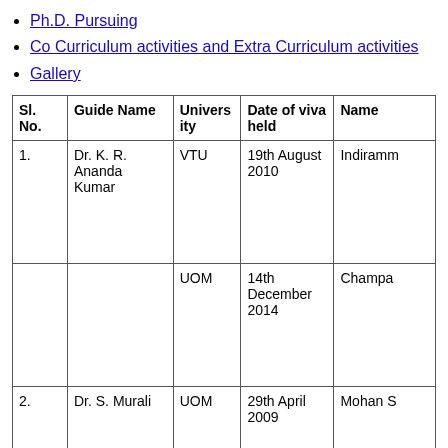Ph.D. Pursuing
Co Curriculum activities and Extra Curriculum activities
Gallery
| Sl. No. | Guide Name | University | Date of viva held | Name |
| --- | --- | --- | --- | --- |
| 1. | Dr. K. R. Ananda Kumar | VTU | 19th August 2010 | Indiramm... |
|  |  | UOM | 14th December 2014 | Champa... |
| 2. | Dr. S. Murali | UOM | 29th April 2009 | Mohan S... |